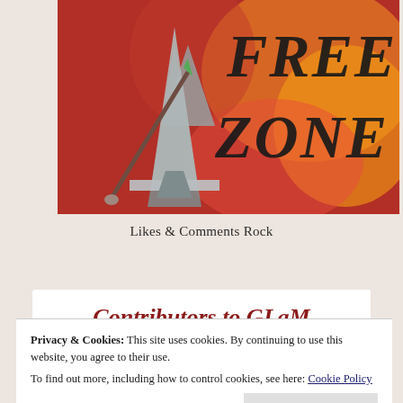[Figure (illustration): Illustrated artwork showing armored fantasy character with sword against fiery red/orange background with bold text reading 'FREE ZONE']
Likes & Comments Rock
Contributors to GLaM
Privacy & Cookies: This site uses cookies. By continuing to use this website, you agree to their use.
To find out more, including how to control cookies, see here: Cookie Policy
Close and accept